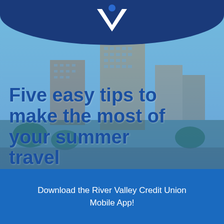[Figure (illustration): City skyline background with blue overlay and River Valley Credit Union logo at top]
Five easy tips to make the most of your summer travel
Download the River Valley Credit Union Mobile App!